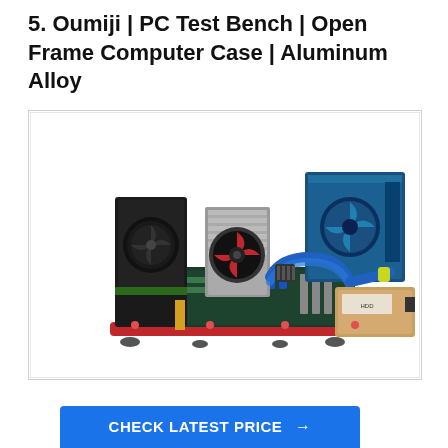5. Oumiji | PC Test Bench | Open Frame Computer Case | Aluminum Alloy
[Figure (photo): Product photo of Oumiji PC Test Bench open frame computer case made of aluminum alloy, showing a motherboard tray with GPU, CPU cooler with red fan, blue power supply unit, blue sleeved cables, HDD, all mounted on a red aluminum frame with rubber feet.]
CHECK LATEST PRICE →